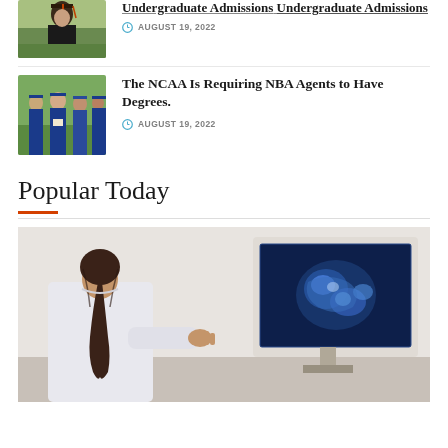[Figure (photo): Single graduate in cap and gown with red tassel, outdoors]
Undergraduate Admissions
AUGUST 19, 2022
[Figure (photo): Group of female graduates in blue caps and gowns]
The NCAA Is Requiring NBA Agents to Have Degrees.
AUGUST 19, 2022
Popular Today
[Figure (photo): Medical professional viewed from behind looking at ultrasound monitor showing fetal image]